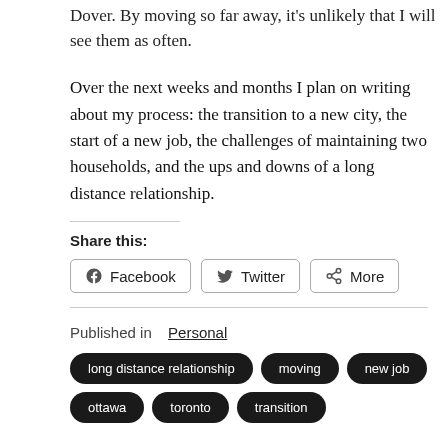Dover. By moving so far away, it's unlikely that I will see them as often.
Over the next weeks and months I plan on writing about my process: the transition to a new city, the start of a new job, the challenges of maintaining two households, and the ups and downs of a long distance relationship.
Share this:
Facebook  Twitter  More
Published in  Personal
long distance relationship
moving
new job
ottawa
toronto
transition